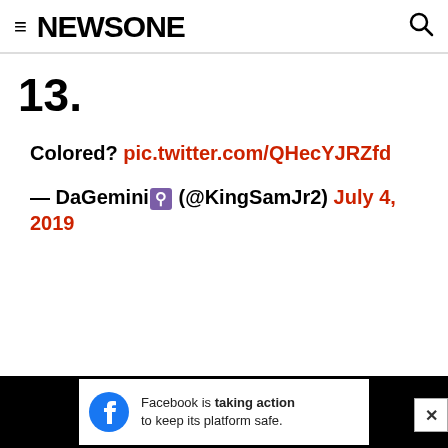≡ NEWSONE [search icon]
13.
Colored? pic.twitter.com/QHecYJRZfd
— DaGemini♊ (@KingSamJr2) July 4, 2019
Facebook is taking action to keep its platform safe.